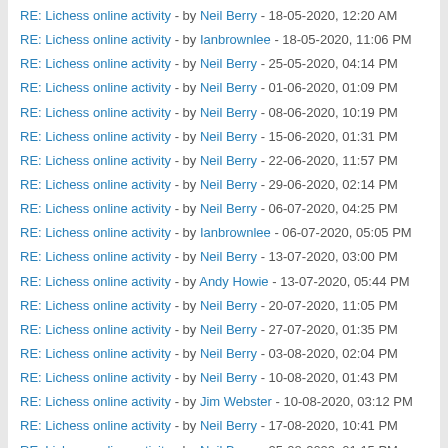RE: Lichess online activity - by Neil Berry - 18-05-2020, 12:20 AM
RE: Lichess online activity - by Ianbrownlee - 18-05-2020, 11:06 PM
RE: Lichess online activity - by Neil Berry - 25-05-2020, 04:14 PM
RE: Lichess online activity - by Neil Berry - 01-06-2020, 01:09 PM
RE: Lichess online activity - by Neil Berry - 08-06-2020, 10:19 PM
RE: Lichess online activity - by Neil Berry - 15-06-2020, 01:31 PM
RE: Lichess online activity - by Neil Berry - 22-06-2020, 11:57 PM
RE: Lichess online activity - by Neil Berry - 29-06-2020, 02:14 PM
RE: Lichess online activity - by Neil Berry - 06-07-2020, 04:25 PM
RE: Lichess online activity - by Ianbrownlee - 06-07-2020, 05:05 PM
RE: Lichess online activity - by Neil Berry - 13-07-2020, 03:00 PM
RE: Lichess online activity - by Andy Howie - 13-07-2020, 05:44 PM
RE: Lichess online activity - by Neil Berry - 20-07-2020, 11:05 PM
RE: Lichess online activity - by Neil Berry - 27-07-2020, 01:35 PM
RE: Lichess online activity - by Neil Berry - 03-08-2020, 02:04 PM
RE: Lichess online activity - by Neil Berry - 10-08-2020, 01:43 PM
RE: Lichess online activity - by Jim Webster - 10-08-2020, 03:12 PM
RE: Lichess online activity - by Neil Berry - 17-08-2020, 10:41 PM
RE: Lichess online activity - by Neil Berry - 25-08-2020, 01:15 PM
RE: Lichess online activity - by Neil Berry - 01-09-2020, 04:20 PM
RE: Lichess online activity - by Neil Berry - 07-09-2020, 11:42 PM
RE: Lichess online activity - by Neil Berry - 14-09-2020, 10:03 PM
RE: Lichess online activity - by Neil Berry - 22-09-2020, 12:02 AM
RE: Lichess online activity - by Neil Berry - 29-09-2020, 12:22 AM
RE: Lichess online activity - by Neil Berry - 05-10-2020, 12:37 PM